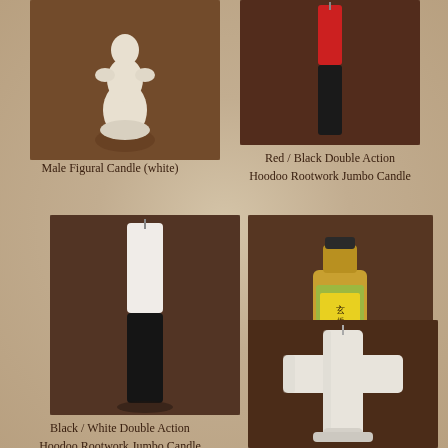[Figure (photo): Male Figural Candle (white) - a white human-shaped candle on a brown fabric background]
Male Figural Candle (white)
[Figure (photo): Red / Black Double Action Hoodoo Rootwork Jumbo Candle - a tall candle that is red on top and black on bottom]
Red / Black Double Action Hoodoo Rootwork Jumbo Candle
[Figure (photo): Black / White Double Action Hoodoo Rootwork Jumbo Candle - a candle that is white on top and black on bottom]
Black / White Double Action Hoodoo Rootwork Jumbo Candle
[Figure (photo): Dr. E Brand Chinese Wash - a small bottle with yellow-green label containing golden liquid]
Dr. E Brand Chinese Wash
[Figure (photo): A white cross-shaped candle on a brown draped fabric background]